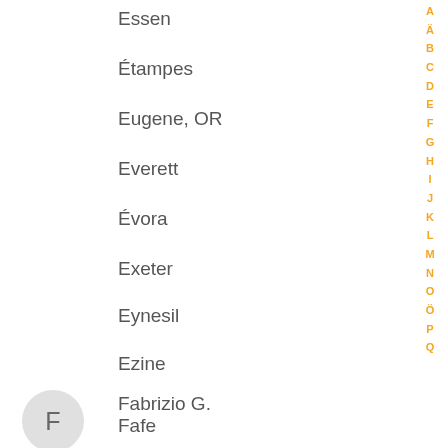Essen
Étampes
Eugene, OR
Everett
Évora
Exeter
Eynesil
Ezine
F
Fabrizio G.
Fafe
Făgăraș
Falerna Marina